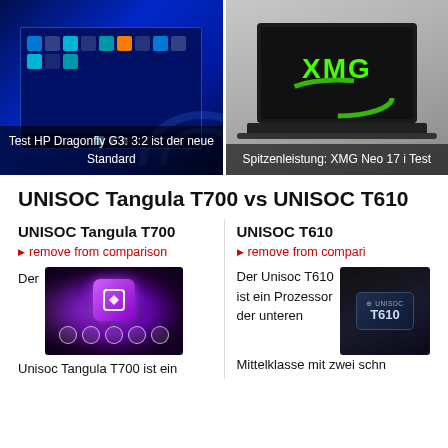[Figure (screenshot): Two laptop product images side by side: left shows HP Dragonfly G3 with Windows 11 screen, right shows XMG Neo 17 gaming laptop with green XMG logo]
Test HP Dragonfly G3: 3:2 ist der neue Standard
Spitzenleistung: XMG Neo 17 i Test
UNISOC Tangula T700 vs UNISOC T610
UNISOC Tangula T700
UNISOC T610
remove from comparison
remove from comparison
[Figure (photo): UNISOC Tangula T700 chip promotional image with purple/magenta gradient background and chip logo in center, with feature icons at bottom]
[Figure (photo): UNISOC T610 chip image on dark background showing chip package with UNISOC T610 branding]
Der
Der Unisoc T610 ist ein Prozessor der unteren Mittelklasse mit zwei schn
Unisoc Tangula T700 ist ein